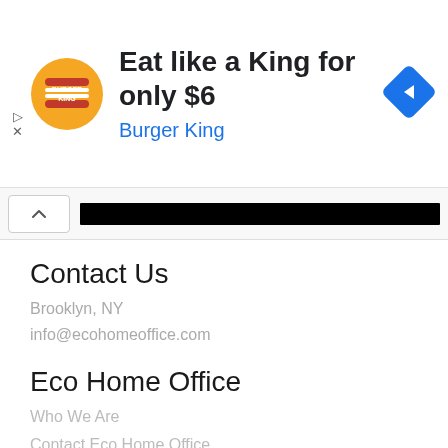[Figure (infographic): Burger King advertisement banner: logo on left with text 'Eat like a King for only $6' and 'Burger King' in blue, with a blue navigation diamond icon on the right]
[Figure (screenshot): Collapsed browser/app bar with a chevron-up button on the left and a black redacted bar on the right]
Contact Us
Brooklyn, NY
info@ecohomeoffice.com
Eco Home Office
Who We Are
Contact Eco Home Office
Return Policy
Shipping Details